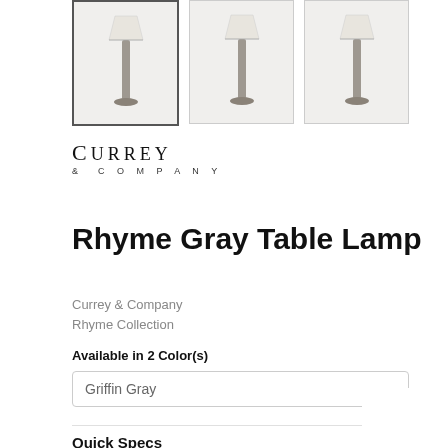[Figure (photo): Three thumbnail images of the Rhyme Gray Table Lamp showing a tall lamp with gray column base and white drum shade. First thumbnail has a selected border.]
[Figure (logo): Currey & Company logo in serif font with '& COMPANY' in spaced sans-serif below]
Rhyme Gray Table Lamp
Currey & Company
Rhyme Collection
Available in 2 Color(s)
Griffin Gray
Quick Specs
Type: Lamps
Width: 15"